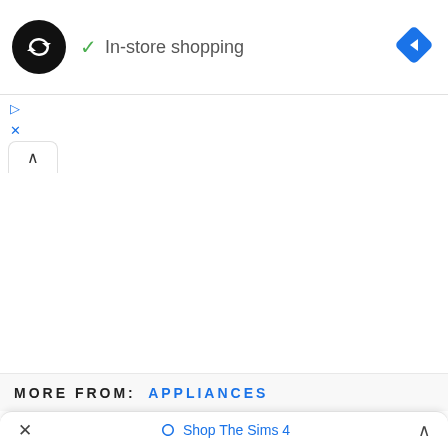[Figure (screenshot): Black circular logo with infinity/loop symbol in white]
✓ In-store shopping
[Figure (logo): Blue diamond navigation arrow icon]
[Figure (other): Ad icons: triangle play and X close in blue]
[Figure (other): Tab with up caret (collapse) button]
MORE FROM: APPLIANCES
× ◇ Shop The Sims 4 ∧